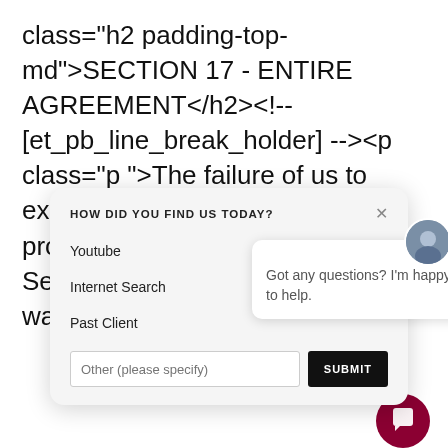class="h2 padding-top-md">SECTION 17 - ENTIRE AGREEMENT</h2><!-- [et_pb_line_break_holder] --><p class="p">The failure of us to exercise or enforce any right or provision of these Terms of Service shall not constitute a waiver of s
[Figure (screenshot): A modal dialog titled 'HOW DID YOU FIND US TODAY?' with options: Youtube, Internet Search, Past Client, and an Other (please specify) text input with a SUBMIT button. Overlaid by a chat bubble with an avatar and text 'Got any questions? I'm happy to help.' and a dark red chat button in the bottom right corner.]